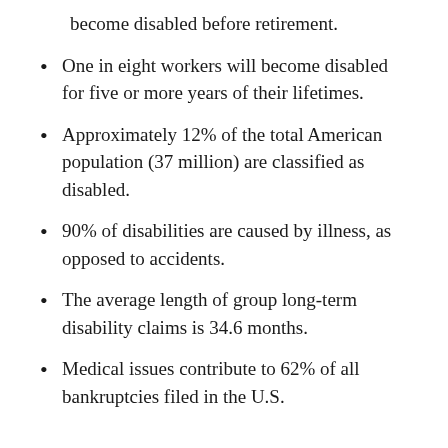become disabled before retirement.
One in eight workers will become disabled for five or more years of their lifetimes.
Approximately 12% of the total American population (37 million) are classified as disabled.
90% of disabilities are caused by illness, as opposed to accidents.
The average length of group long-term disability claims is 34.6 months.
Medical issues contribute to 62% of all bankruptcies filed in the U.S.
Do Older People Have a Greater Need for Disability